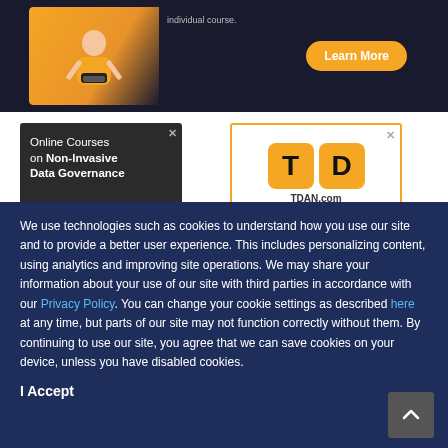[Figure (screenshot): Top banner advertisement showing a person at a laptop with a 'Learn More' orange button on a dark background]
[Figure (screenshot): Left ad: 'Online Courses on Non-Invasive Data Governance' on dark background]
[Figure (screenshot): Right ad: TDAN.com logo with T and D blocks in orange on white background with gold border]
We use technologies such as cookies to understand how you use our site and to provide a better user experience. This includes personalizing content, using analytics and improving site operations. We may share your information about your use of our site with third parties in accordance with our Privacy Policy. You can change your cookie settings as described here at any time, but parts of our site may not function correctly without them. By continuing to use our site, you agree that we can save cookies on your device, unless you have disabled cookies.
I Accept